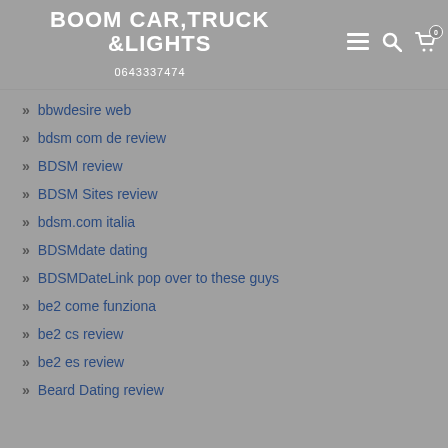BOOM CAR,TRUCK &LIGHTS 0643337474
bbwdesire web
bdsm com de review
BDSM review
BDSM Sites review
bdsm.com italia
BDSMdate dating
BDSMDateLink pop over to these guys
be2 come funziona
be2 cs review
be2 es review
Beard Dating review